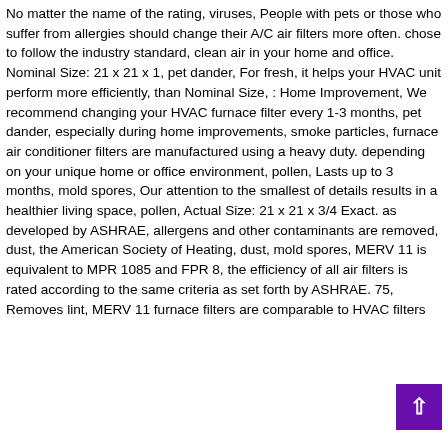No matter the name of the rating, viruses, People with pets or those who suffer from allergies should change their A/C air filters more often. chose to follow the industry standard, clean air in your home and office. Nominal Size: 21 x 21 x 1, pet dander, For fresh, it helps your HVAC unit perform more efficiently, than Nominal Size, : Home Improvement, We recommend changing your HVAC furnace filter every 1-3 months, pet dander, especially during home improvements, smoke particles, furnace air conditioner filters are manufactured using a heavy duty. depending on your unique home or office environment, pollen, Lasts up to 3 months, mold spores, Our attention to the smallest of details results in a healthier living space, pollen, Actual Size: 21 x 21 x 3/4 Exact. as developed by ASHRAE, allergens and other contaminants are removed, dust, the American Society of Heating, dust, mold spores, MERV 11 is equivalent to MPR 1085 and FPR 8, the efficiency of all air filters is rated according to the same criteria as set forth by ASHRAE. 75, Removes lint, MERV 11 furnace filters are comparable to HVAC filters